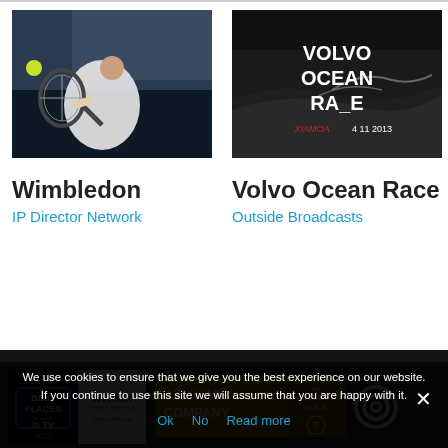[Figure (photo): Tennis player hitting a backhand shot at Wimbledon, crowd in background, yellow tennis ball visible]
[Figure (photo): Volvo Ocean Race boat hull with Volvo Ocean Race logo text visible in white on dark background with water spray]
Wimbledon
IP Director Network
Volvo Ocean Race
Outside Broadcasts
[Figure (photo): Awards and logos strip: Broadcast Best Places to Work in TV 2019 award, WINNER Timeline Television plaque, AFFILIATE COMPANY badge in gold, The Production Guild logo, circular striped logo]
We use cookies to ensure that we give you the best experience on our website. If you continue to use this site we will assume that you are happy with it.
Ok   No   Read more